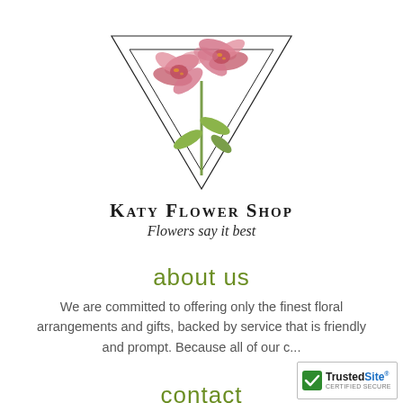[Figure (logo): Katy Flower Shop logo: watercolor orchid flowers above an inverted triangle geometric frame, with the text 'Katy Flower Shop' and tagline 'Flowers say it best']
Katy Flower Shop
Flowers say it best
about us
We are committed to offering only the finest floral arrangements and gifts, backed by service that is friendly and prompt. Because all of our c...
contact
[Figure (logo): TrustedSite Certified Secure badge with green checkmark]